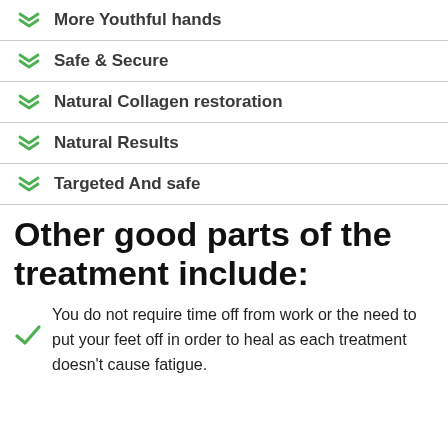More Youthful hands
Safe & Secure
Natural Collagen restoration
Natural Results
Targeted And safe
Other good parts of the treatment include:
You do not require time off from work or the need to put your feet off in order to heal as each treatment doesn't cause fatigue.